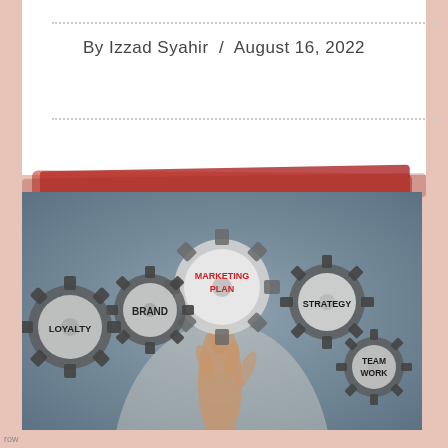By Izzad Syahir / August 16, 2022
[Figure (illustration): Marketing plan concept image showing a person's hand pointing at interconnected gears labeled: MARKETING PLAN (center, red text), BRAND, LOYALTY, STRATEGY, and TEAM WORK. The background is a blurred blue-gray office setting.]
row